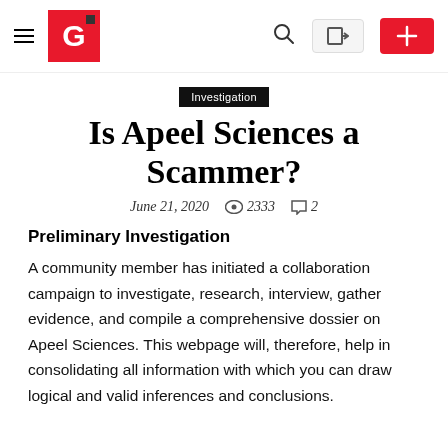Navigation bar with hamburger menu, G logo, search icon, login button, and plus button
Investigation
Is Apeel Sciences a Scammer?
June 21, 2020  👁 2333  💬 2
Preliminary Investigation
A community member has initiated a collaboration campaign to investigate, research, interview, gather evidence, and compile a comprehensive dossier on Apeel Sciences. This webpage will, therefore, help in consolidating all information with which you can draw logical and valid inferences and conclusions.